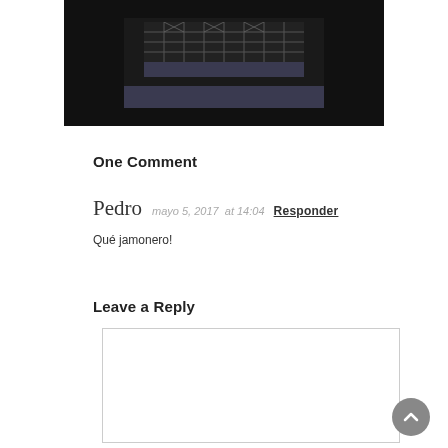[Figure (photo): Dark architectural rendering of a building structure with scaffolding and a platform, shown against a black background.]
One Comment
Pedro   mayo 5, 2017  at 14:04   Responder
Qué jamonero!
Leave a Reply